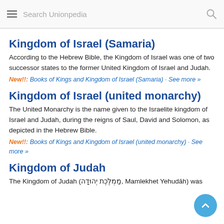Search Unionpedia
Kingdom of Israel (Samaria)
According to the Hebrew Bible, the Kingdom of Israel was one of two successor states to the former United Kingdom of Israel and Judah.
New!!: Books of Kings and Kingdom of Israel (Samaria) · See more »
Kingdom of Israel (united monarchy)
The United Monarchy is the name given to the Israelite kingdom of Israel and Judah, during the reigns of Saul, David and Solomon, as depicted in the Hebrew Bible.
New!!: Books of Kings and Kingdom of Israel (united monarchy) · See more »
Kingdom of Judah
The Kingdom of Judah (מַמְלֶכֶת יְהוּדָה, Mamlekhet Yehudāh) was